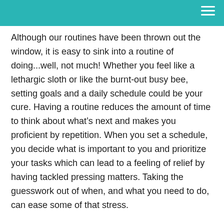Although our routines have been thrown out the window, it is easy to sink into a routine of doing...well, not much! Whether you feel like a lethargic sloth or like the burnt-out busy bee, setting goals and a daily schedule could be your cure. Having a routine reduces the amount of time to think about what’s next and makes you proficient by repetition. When you set a schedule, you decide what is important to you and prioritize your tasks which can lead to a feeling of relief by having tackled pressing matters. Taking the guesswork out of when, and what you need to do, can ease some of that stress.
How often do you say to yourself “I really need to clean that” or “I need to really file that or put that away”?